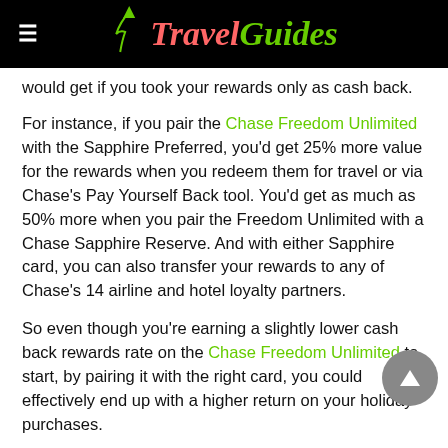Travel Guides
would get if you took your rewards only as cash back.
For instance, if you pair the Chase Freedom Unlimited with the Sapphire Preferred, you'd get 25% more value for the rewards when you redeem them for travel or via Chase's Pay Yourself Back tool. You'd get as much as 50% more when you pair the Freedom Unlimited with a Chase Sapphire Reserve. And with either Sapphire card, you can also transfer your rewards to any of Chase's 14 airline and hotel loyalty partners.
So even though you're earning a slightly lower cash back rewards rate on the Chase Freedom Unlimited to start, by pairing it with the right card, you could effectively end up with a higher return on your holiday purchases.
The Freedom Unlimited also offers peace of mind when you're shopping, as you'll be covered against damage or